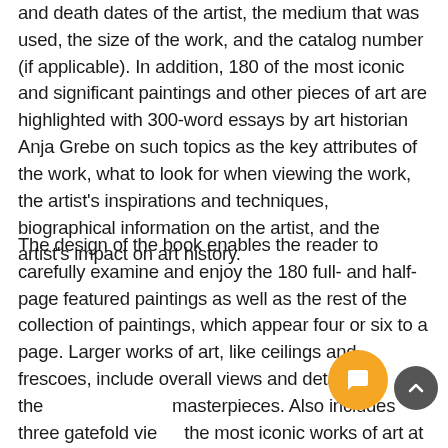and death dates of the artist, the medium that was used, the size of the work, and the catalog number (if applicable). In addition, 180 of the most iconic and significant paintings and other pieces of art are highlighted with 300-word essays by art historian Anja Grebe on such topics as the key attributes of the work, what to look for when viewing the work, the artist's inspirations and techniques, biographical information on the artist, and the artist's impact on art history.
The design of the book enables the reader to carefully examine and enjoy the 180 full- and half-page featured paintings as well as the rest of the collection of paintings, which appear four or six to a page. Larger works of art, like ceilings and frescoes, include overall views and details of the masterpieces. Also includes three gatefold views of the most iconic works of art at a larger size.